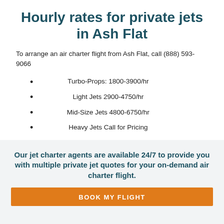Hourly rates for private jets in Ash Flat
To arrange an air charter flight from Ash Flat, call (888) 593-9066
Turbo-Props: 1800-3900/hr
Light Jets 2900-4750/hr
Mid-Size Jets 4800-6750/hr
Heavy Jets Call for Pricing
Airliners Call for Pricing
Our jet charter agents are available 24/7 to provide you with multiple private jet quotes for your on-demand air charter flight.
BOOK MY FLIGHT